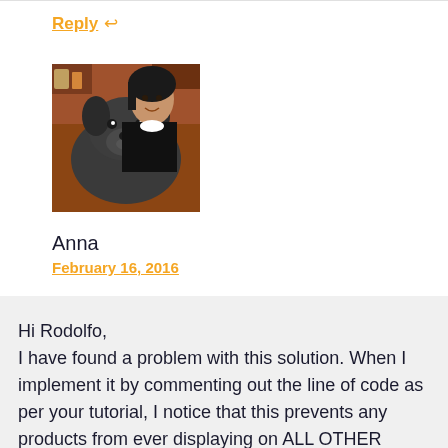Reply ↩
[Figure (photo): Avatar photo of Anna — a woman holding a dog]
Anna
February 16, 2016
Hi Rodolfo,
I have found a problem with this solution. When I implement it by commenting out the line of code as per your tutorial, I notice that this prevents any products from ever displaying on ALL OTHER Product category pages!